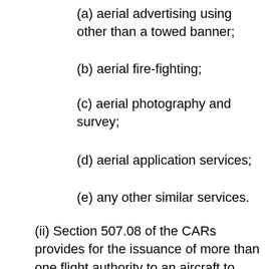(a) aerial advertising using other than a towed banner;
(b) aerial fire-fighting;
(c) aerial photography and survey;
(d) aerial application services;
(e) any other similar services.
(ii) Section 507.08 of the CARs provides for the issuance of more than one flight authority to an aircraft to allow conversion